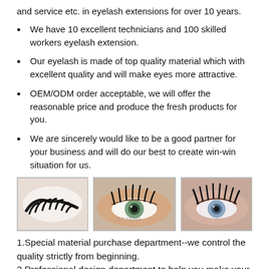and service etc. in eyelash extensions for over 10 years.
We have 10 excellent technicians and 100 skilled workers eyelash extension.
Our eyelash is made of top quality material which with excellent quality and will make eyes more attractive.
OEM/ODM order acceptable, we will offer the reasonable price and produce the fresh products for you.
We are sincerely would like to be a good partner for your business and will do our best to create win-win situation for us.
[Figure (photo): Three photos of eyelash extensions: a close-up of false eyelashes on white background, an eye with extended lashes, and an eye with dramatic lash extensions.]
1.Special material purchase department--we control the quality strictly from beginning.
2.Professional design department to help you make your own brand.